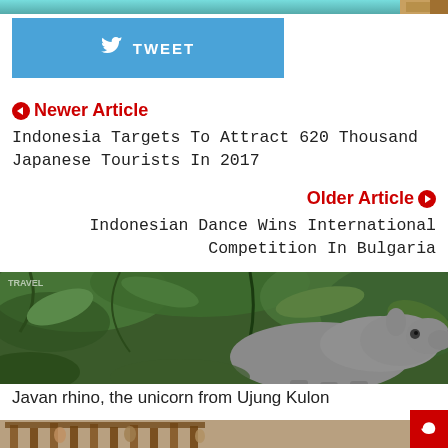[Figure (photo): Top strip: beach/ocean photo with small icon on right]
[Figure (other): Blue Twitter Tweet button with bird icon]
❮ Newer Article
Indonesia Targets To Attract 620 Thousand Japanese Tourists In 2017
Older Article ❯
Indonesian Dance Wins International Competition In Bulgaria
[Figure (photo): Javan rhino in jungle foliage, close-up of face and body]
Javan rhino, the unicorn from Ujung Kulon
[Figure (photo): Bottom partial image showing wooden structures/market scene]